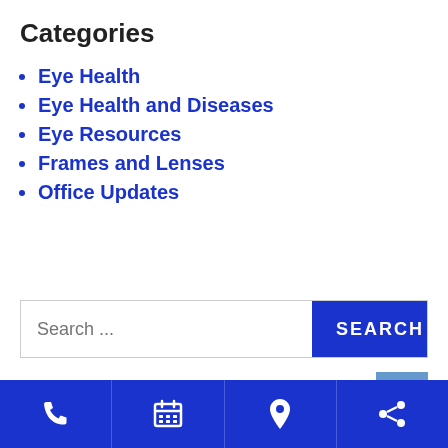Categories
Eye Health
Eye Health and Diseases
Eye Resources
Frames and Lenses
Office Updates
Search ...
Phone | Calendar | Location | Share